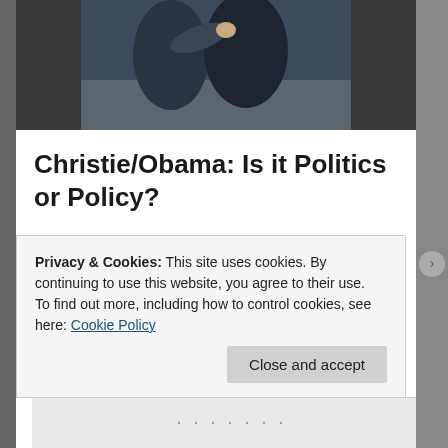[Figure (photo): Two people in dark jackets, one placing hand on the other's shoulder, photographed outdoors.]
Christie/Obama: Is it Politics or Policy?
Is Christie's decision about politics or policy? Answer our poll. You decide. Saying “No” Again New Jersey Governor, Chris Christie vetoed the latest Health Exchange bill sent to his desk by Democratic legislators on Thursday moving New Jersey one step closer to a federally facilitated Health Exchange. If the Governor does not come
Privacy & Cookies: This site uses cookies. By continuing to use this website, you agree to their use.
To find out more, including how to control cookies, see here: Cookie Policy